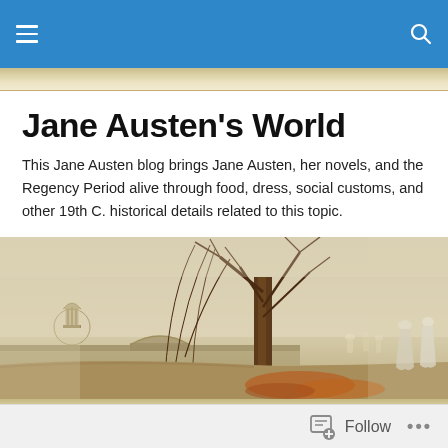Navigation bar with hamburger menu and search icon
[Figure (illustration): Regency-era atmospheric painting of women in white dresses walking along a misty park path with a stone bridge, large tree, and classical rotunda in the background, autumn leaves on the ground]
Jane Austen's World
This Jane Austen blog brings Jane Austen, her novels, and the Regency Period alive through food, dress, social customs, and other 19th C. historical details related to this topic.
Upstairs Downstairs, Season 2
Follow  •••